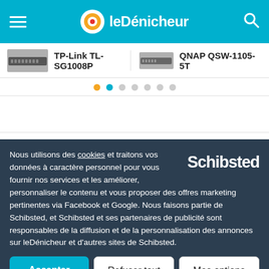leDénicheur
TP-Link TL-SG1008P
QNAP QSW-1105-5T
Performance / Capacité de commutation
Nous utilisons des cookies et traitons vos données à caractère personnel pour vous fournir nos services et les améliorer, personnaliser le contenu et vous proposer des offres marketing pertinentes via Facebook et Google. Nous faisons partie de Schibsted, et Schibsted et ses partenaires de publicité sont responsables de la diffusion et de la personnalisation des annonces sur leDénicheur et d'autres sites de Schibsted.
Accepter
Refuser tout
Mes options
Compatibilité